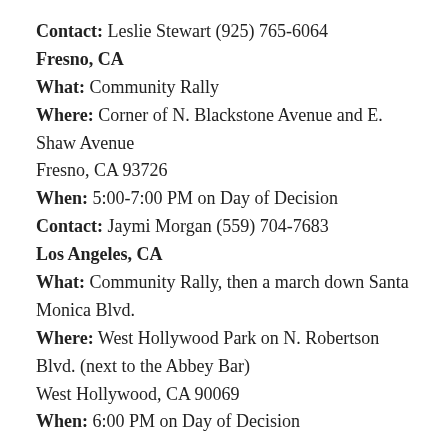Contact: Leslie Stewart (925) 765-6064
Fresno, CA
What: Community Rally
Where: Corner of N. Blackstone Avenue and E. Shaw Avenue
Fresno, CA 93726
When: 5:00-7:00 PM on Day of Decision
Contact: Jaymi Morgan (559) 704-7683
Los Angeles, CA
What: Community Rally, then a march down Santa Monica Blvd.
Where: West Hollywood Park on N. Robertson Blvd. (next to the Abbey Bar)
West Hollywood, CA 90069
When: 6:00 PM on Day of Decision